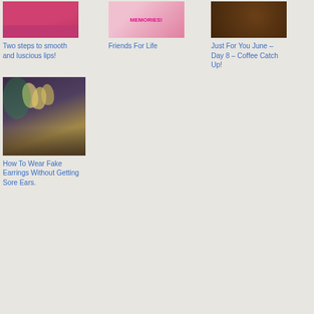[Figure (photo): Thumbnail image - lips/lipstick]
Two steps to smooth and luscious lips!
[Figure (photo): Thumbnail image - Friends For Life text]
Friends For Life
[Figure (photo): Thumbnail image - coffee beans]
Just For You June – Day 8 – Coffee Catch Up!
[Figure (photo): Thumbnail image - fake earrings display]
How To Wear Fake Earrings Without Getting Sore Ears.